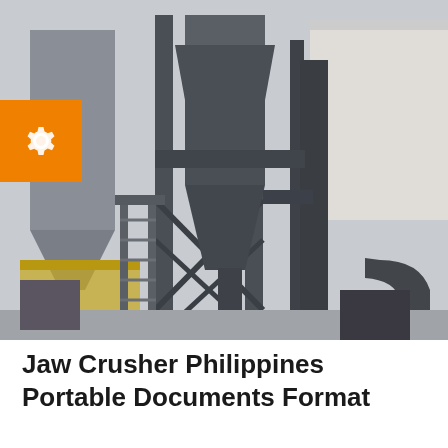[Figure (photo): Industrial jaw crusher / dust collection equipment facility in Philippines showing large dark grey metal structures, cyclone separators, pipes, scaffolding, and industrial buildings in background. An orange square badge with a gear/settings icon is overlaid on the left side of the image.]
Jaw Crusher Philippines Portable Documents Format
...